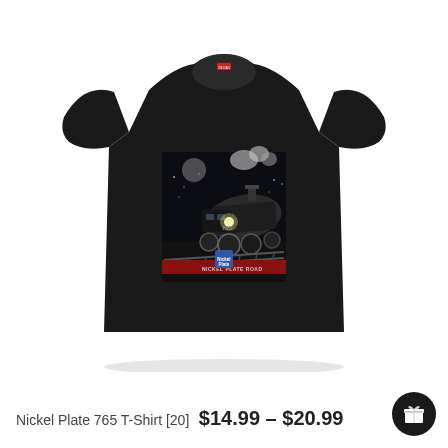[Figure (photo): Black t-shirt featuring a vintage steam locomotive (Nickel Plate Road) graphic at night with moon and smoke, viewed from the front on a white background.]
Nickel Plate 765 T-Shirt [20] $14.99 – $20.99